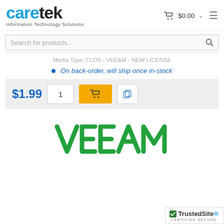[Figure (logo): Caretek Information Technology Solutions logo — 'care' in blue, 'tek' in black, with tagline 'Information Technology Solutions']
$0.00 cart icon and hamburger menu
Search for products..
Media Type: CLDS - VEEAM - NEW LICENSE
On back-order, will ship once in-stock
$1.99  1  [add to cart button]  [wishlist button]
[Figure (logo): Veeam logo in green uppercase letters]
[Figure (logo): TrustedSite Certified Secure badge]